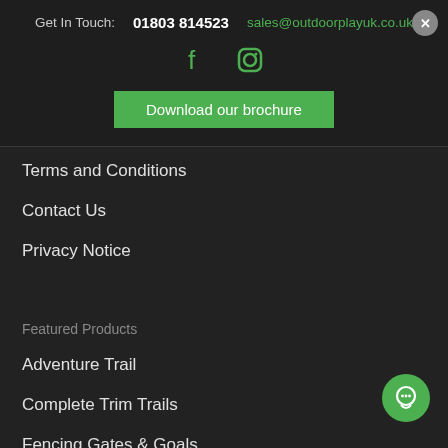Get In Touch:  01803 814523  sales@outdoorplayuk.co.uk
[Figure (other): Facebook and Instagram social media icons in green]
Download our brochure
Terms and Conditions
Contact Us
Privacy Notice
Featured Products
Adventure Trail
Complete Trim Trails
Fencing Gates & Goals
[Figure (other): Green circular chat/message button in bottom right corner]